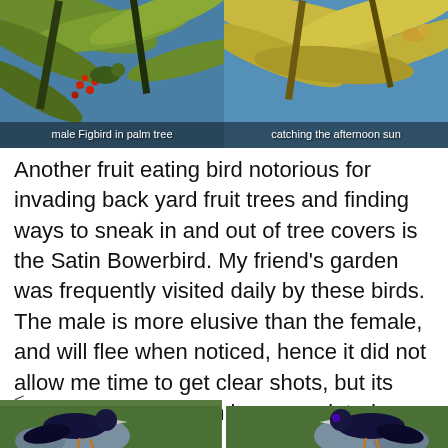[Figure (photo): Male Figbird perched in a palm tree with red berries and green fronds against a blue sky background. Caption reads: male Figbird in palm tree]
[Figure (photo): A bird catching the afternoon sun among palm fronds. Caption reads: catching the afternoon sun]
Another fruit eating bird notorious for invading back yard fruit trees and finding ways to sneak in and out of tree covers is the Satin Bowerbird. My friend’s garden was frequently visited daily by these birds. The male is more elusive than the female, and will flee when noticed, hence it did not allow me time to get clear shots, but its beautiful features can be appreciated.
<
[Figure (photo): A male Satin Bowerbird with glossy dark blue-black plumage standing on green grass near blue-grey grass clumps, facing left]
[Figure (photo): A male Satin Bowerbird with glossy dark blue-black plumage and violet eye standing on green grass near blue-grey grass clumps, facing right in profile]